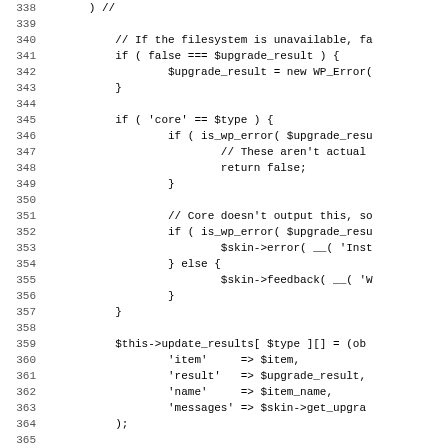[Figure (screenshot): Source code listing showing lines 338-370 of a PHP file, displaying WordPress upgrade logic with conditional checks, error handling, and result object construction.]